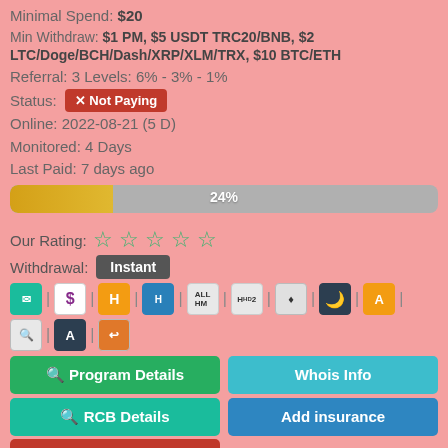Minimal Spend: $20
Min Withdraw: $1 PM, $5 USDT TRC20/BNB, $2 LTC/Doge/BCH/Dash/XRP/XLM/TRX, $10 BTC/ETH
Referral: 3 Levels: 6% - 3% - 1%
Status: Not Paying
Online: 2022-08-21 (5 D)
Monitored: 4 Days
Last Paid: 7 days ago
[Figure (bar-chart): Progress bar 24%]
Our Rating:
Withdrawal: Instant
Program Details | Whois Info | RCB Details | Add insurance | Insurance